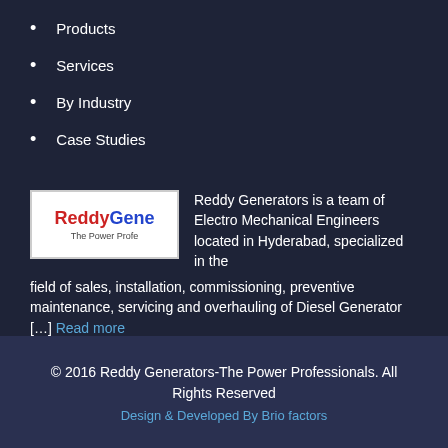Products
Services
By Industry
Case Studies
Client List
Reddy Generators is a team of Electro Mechanical Engineers located in Hyderabad, specialized in the field of sales, installation, commissioning, preventive maintenance, servicing and overhauling of Diesel Generator […] Read more
© 2016 Reddy Generators-The Power Professionals. All Rights Reserved
Design & Developed By Brio factors